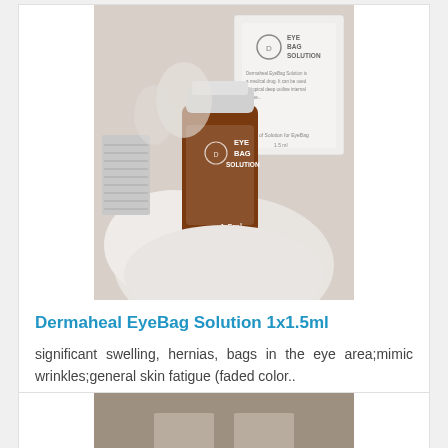[Figure (photo): Product photo of Dermaheal EyeBag Solution 1.5ml amber glass vial held in a gloved hand, with the product box visible in the background showing the Dermaheal logo and Eye Bag Solution text.]
Dermaheal EyeBag Solution 1x1.5ml
significant swelling, hernias, bags in the eye area;mimic wrinkles;general skin fatigue (faded color..
$40.00  $50.00
[Figure (photo): Partial view of a second product card showing a brownish-tan background, partially visible at the bottom of the page.]